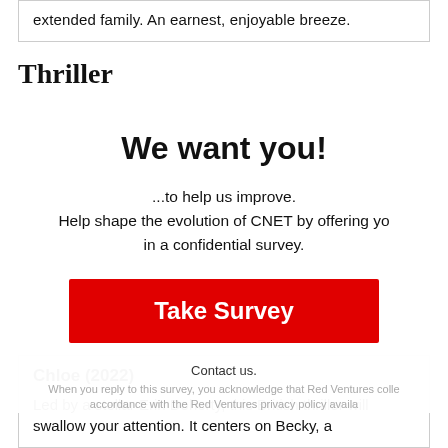extended family. An earnest, enjoyable breeze.
Thriller
We want you!
...to help us improve.
Help shape the evolution of CNET by offering yo in a confidential survey.
Take Survey
Contact us.
When you reply to this survey, you acknowledge that Red Ventures colle accordance with the Red Ventures privacy policy availa
Chloe (2022)
Led by a stellar Erin Doherty, this British thriller will swallow your attention. It centers on Becky, a